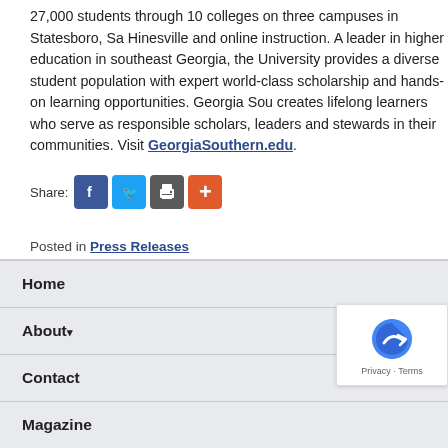27,000 students through 10 colleges on three campuses in Statesboro, Sa... Hinesville and online instruction. A leader in higher education in southeast Georgia, the University provides a diverse student population with expert world-class scholarship and hands-on learning opportunities. Georgia Sou... creates lifelong learners who serve as responsible scholars, leaders and stewards in their communities. Visit GeorgiaSouthern.edu.
[Figure (infographic): Share buttons: Facebook (blue), Twitter (light blue), Print (gray), Plus/More (orange-red)]
Posted in Press Releases
< Previous
Home
About▾
Contact
Magazine